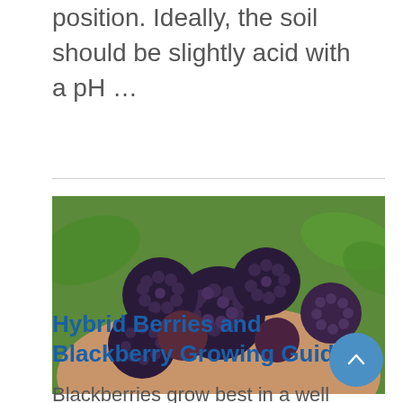position. Ideally, the soil should be slightly acid with a pH …
[Figure (photo): Close-up photo of a handful of ripe blackberries held in a hand, with green leaves visible in the background.]
Hybrid Berries and Blackberry Growing Guide
Blackberries grow best in a well drained